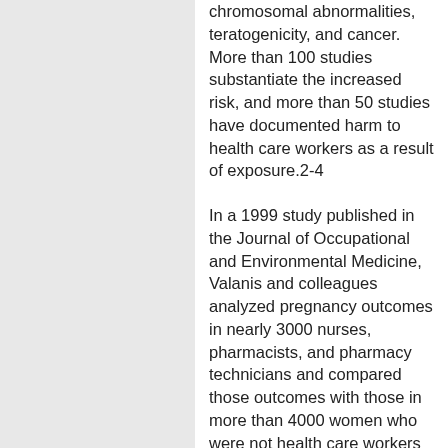chromosomal abnormalities, teratogenicity, and cancer. More than 100 studies substantiate the increased risk, and more than 50 studies have documented harm to health care workers as a result of exposure.2-4
In a 1999 study published in the Journal of Occupational and Environmental Medicine, Valanis and colleagues analyzed pregnancy outcomes in nearly 3000 nurses, pharmacists, and pharmacy technicians and compared those outcomes with those in more than 4000 women who were not health care workers